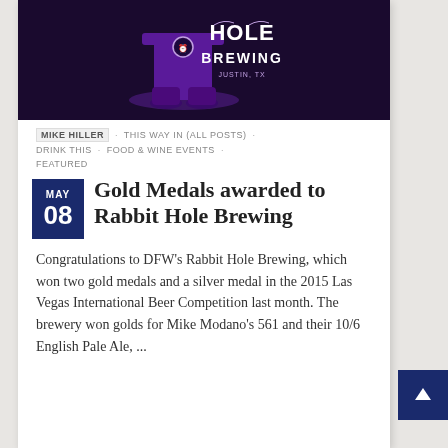[Figure (logo): Rabbit Hole Brewing logo — purple top hat and text on dark background]
MIKE HILLER · THIS WAY IN (ALL POSTS) · DRINK THIS · FOOD & WINE EVENTS · FEATURED
Gold Medals awarded to Rabbit Hole Brewing
Congratulations to DFW's Rabbit Hole Brewing, which won two gold medals and a silver medal in the 2015 Las Vegas International Beer Competition last month. The brewery won golds for Mike Modano's 561 and their 10/6 English Pale Ale, ...